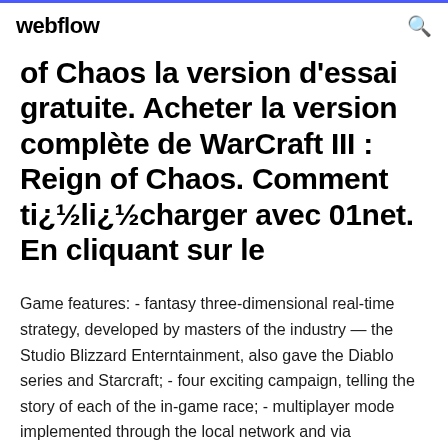webflow
of Chaos la version d'essai gratuite. Acheter la version complète de WarCraft III : Reign of Chaos. Comment ti¿½li¿½charger avec 01net. En cliquant sur le
Game features: - fantasy three-dimensional real-time strategy, developed by masters of the industry — the Studio Blizzard Enterntainment, also gave the Diablo series and Starcraft; - four exciting campaign, telling the story of each of the in-game race; - multiplayer mode implemented through the local network and via